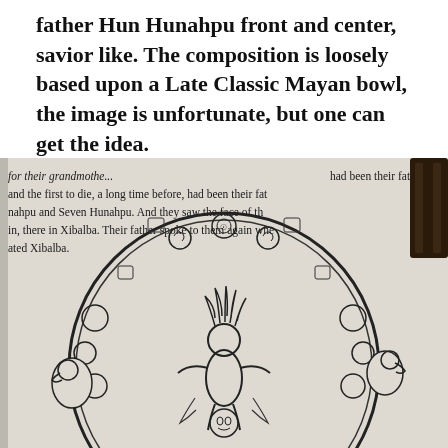father Hun Hunahpu front and center, savior like. The composition is loosely based upon a Late Classic Mayan bowl, the image is unfortunate, but one can get the idea.
[Figure (photo): A photograph of an open book page showing a Late Classic Mayan bowl illustration. The text visible on the book page reads: 'for their grandmothe... and the first to die, a long time before, had been their fat... nahpu and Seven Hunahpu. And they saw the face of th... in, there in Xibalba. Their father spoke to them again when... ated Xibalba.' Below the text is a circular Mayan drawing depicting Hun Hunahpu at the center surrounded by various Mayan figures and glyphs arranged in a ring. The book's pages are curled and a dark object is partially visible at the top right corner.]